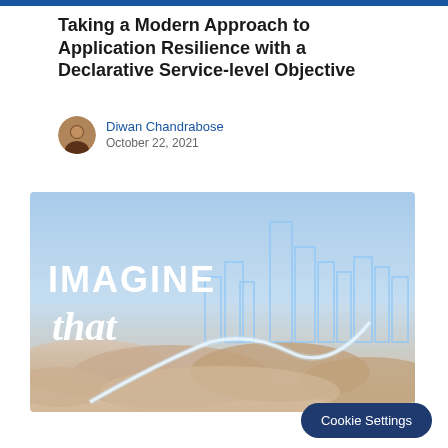Taking a Modern Approach to Application Resilience with a Declarative Service-level Objective
Diwan Chandrabose
October 22, 2021
[Figure (illustration): Banner image with sky and clouds background showing glowing neon blue city skyline outline, with large bold text 'IMAGINE' and cursive script 'that' in white, and a glowing curved light trail through the cityscape.]